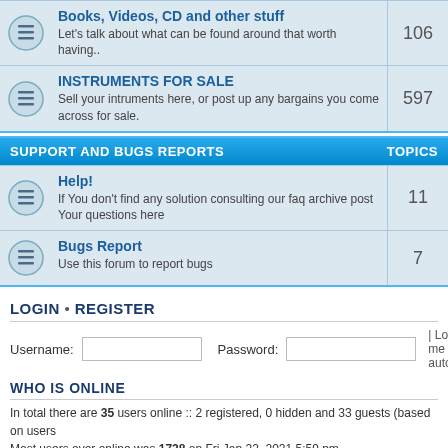Books, Videos, CD and other stuff — Let's talk about what can be found around that worth having.. — 106
INSTRUMENTS FOR SALE — Sell your intruments here, or post up any bargains you come across for sale. — 597
SUPPORT AND BUGS REPORTS — TOPICS
Help! — If You don't find any solution consulting our faq archive post Your questions here — 11
Bugs Report — Use this forum to report bugs — 7
LOGIN • REGISTER
Username: [input] Password: [input] | Log me on autom
WHO IS ONLINE
In total there are 35 users online :: 2 registered, 0 hidden and 33 guests (based on users Most users ever online was 1728 on Fri Jan 22, 2021 5:59 pm
Registered users: Google Adsense [Bot], rhoff71
Legend: Administrators, Conga Team, Global moderators, Guests, Registered users
STATISTICS
Total posts 82569 • Total topics 8668 • Total members 2596 • Our newest member rhoff7